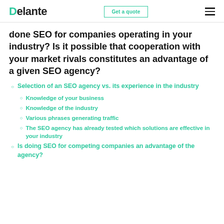Delante | Get a quote
done SEO for companies operating in your industry? Is it possible that cooperation with your market rivals constitutes an advantage of a given SEO agency?
Selection of an SEO agency vs. its experience in the industry
Knowledge of your business
Knowledge of the industry
Various phrases generating traffic
The SEO agency has already tested which solutions are effective in your industry
Is doing SEO for competing companies an advantage of the agency?